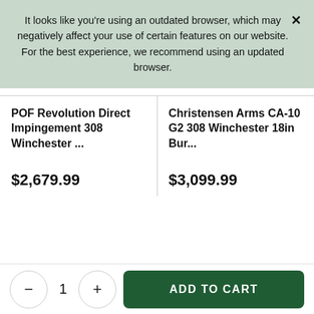It looks like you're using an outdated browser, which may negatively affect your use of certain features on our website. For the best experience, we recommend using an updated browser.
POF Revolution Direct Impingement 308 Winchester ...
$2,679.99
Christensen Arms CA-10 G2 308 Winchester 18in Bur...
$3,099.99
− 1 + ADD TO CART